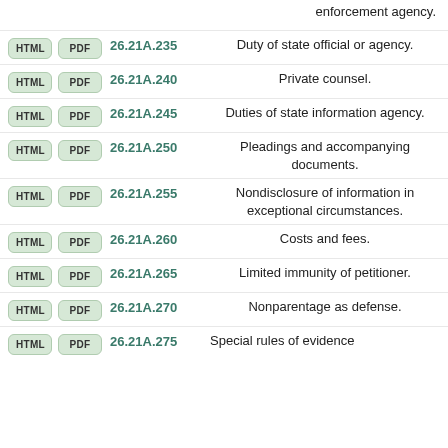enforcement agency.
26.21A.235 Duty of state official or agency.
26.21A.240 Private counsel.
26.21A.245 Duties of state information agency.
26.21A.250 Pleadings and accompanying documents.
26.21A.255 Nondisclosure of information in exceptional circumstances.
26.21A.260 Costs and fees.
26.21A.265 Limited immunity of petitioner.
26.21A.270 Nonparentage as defense.
26.21A.275 Special rules of evidence